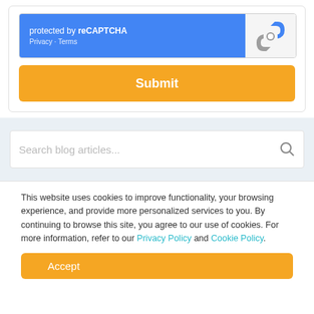[Figure (screenshot): reCAPTCHA widget showing 'protected by reCAPTCHA' text with Privacy and Terms links on a blue background, and the reCAPTCHA logo on the right]
[Figure (screenshot): Orange Submit button]
[Figure (screenshot): Search box with placeholder text 'Search blog articles...' and a magnifier icon]
This website uses cookies to improve functionality, your browsing experience, and provide more personalized services to you. By continuing to browse this site, you agree to our use of cookies. For more information, refer to our Privacy Policy and Cookie Policy.
[Figure (screenshot): Orange Accept button]